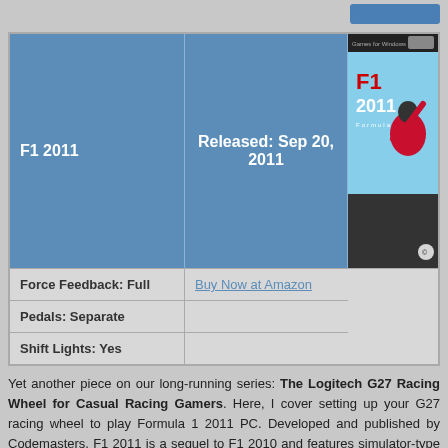| F1 2011 | Released: Sep 20, 2011 |  |
| --- | --- | --- |
| Force Feedback: Full | Buy Now at Amazon |  |
| Pedals: Separate |  |  |
| Shift Lights: Yes |  |  |
Yet another piece on our long-running series: The Logitech G27 Racing Wheel for Casual Racing Gamers. Here, I cover setting up your G27 racing wheel to play Formula 1 2011 PC. Developed and published by Codemasters, F1 2011 is a sequel to F1 2010 and features simulator-type open-wheel racing among all official F1 teams and drivers of the 2011 season. F1 2011 PC
[Figure (photo): DiRT 3 racing game cover art showing a rally car with number 43]